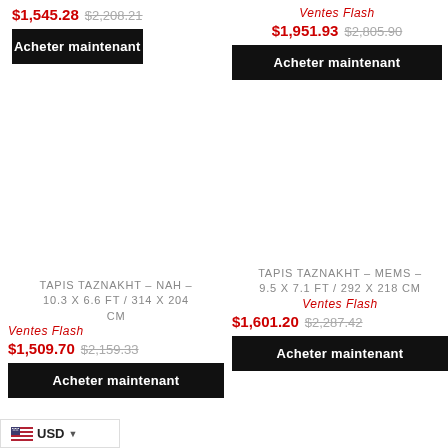$1,545.28 $2,208.21
Acheter maintenant
Ventes Flash
$1,951.93 $2,805.90
Acheter maintenant
TAPIS TAZNAKHT - NAH - 10.3 X 6.6 FT / 314 X 204 CM
Ventes Flash
$1,509.70 $2,159.33
Acheter maintenant
TAPIS TAZNAKHT - MEMS - 9.5 X 7.1 FT / 292 X 218 CM
Ventes Flash
$1,601.20 $2,287.42
Acheter maintenant
USD